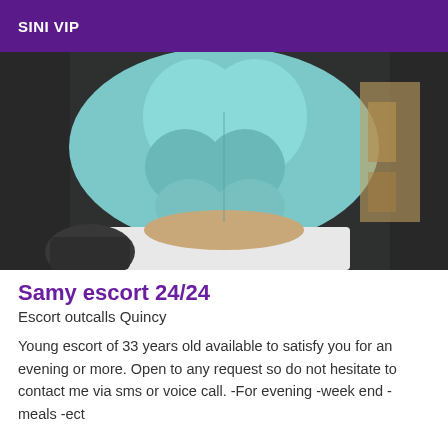SINI VIP
[Figure (photo): Photo of a person's torso showing muscular abdomen, appears to be taken indoors with teal/blue lighting effect applied]
Samy escort 24/24
Escort outcalls Quincy
Young escort of 33 years old available to satisfy you for an evening or more. Open to any request so do not hesitate to contact me via sms or voice call. -For evening -week end -meals -ect